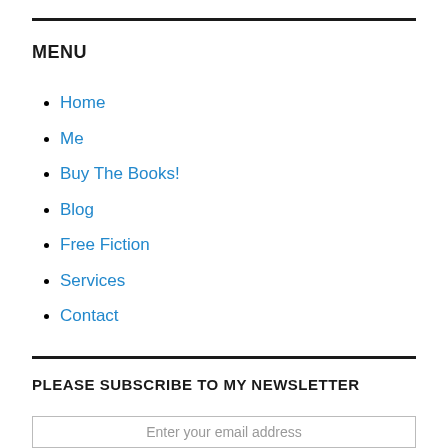MENU
Home
Me
Buy The Books!
Blog
Free Fiction
Services
Contact
PLEASE SUBSCRIBE TO MY NEWSLETTER
Enter your email address